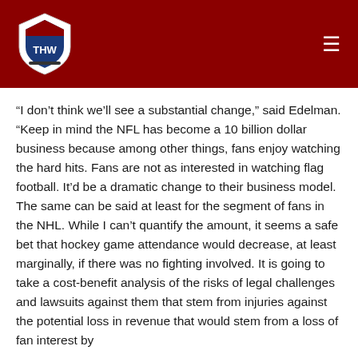THW logo and navigation header
“I don’t think we’ll see a substantial change,” said Edelman. “Keep in mind the NFL has become a 10 billion dollar business because among other things, fans enjoy watching the hard hits. Fans are not as interested in watching flag football. It’d be a dramatic change to their business model. The same can be said at least for the segment of fans in the NHL. While I can’t quantify the amount, it seems a safe bet that hockey game attendance would decrease, at least marginally, if there was no fighting involved. It is going to take a cost-benefit analysis of the risks of legal challenges and lawsuits against them that stem from injuries against the potential loss in revenue that would stem from a loss of fan interest by